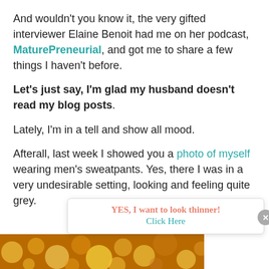And wouldn't you know it, the very gifted interviewer Elaine Benoit had me on her podcast, MaturePreneurial, and got me to share a few things I haven't before.
Let's just say, I'm glad my husband doesn't read my blog posts.
Lately, I'm in a tell and show all mood.
Afterall, last week I showed you a photo of myself wearing men's sweatpants. Yes, there I was in a very undesirable setting, looking and feeling quite grey.
YES, I want to look thinner! Click Here
[Figure (photo): Bokeh background with warm golden/orange circles of light at the bottom of the page]